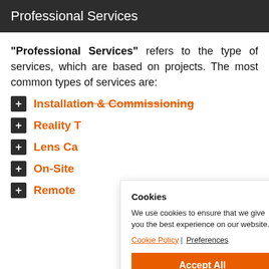Professional Services
“Professional Services” refers to the type of services, which are based on projects. The most common types of services are:
Installation & Commissioning
Reality T[raining]
Lens Ca[libration]
On-Site [Support]
Remote [Support]
Cookies
We use cookies to ensure that we give you the best experience on our website.
Cookie Policy | Preferences
Accept All